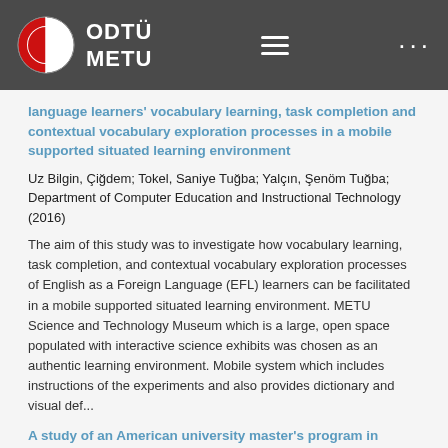[Figure (logo): ODTÜ METU university logo with circular red and white emblem on dark grey navigation bar, with hamburger menu icon and dots menu icon]
language learners' vocabulary learning, task completion and contextual vocabulary exploration processes in a mobile supported situated learning environment
Uz Bilgin, Çiğdem; Tokel, Saniye Tuğba; Yalçın, Şenöm Tuğba; Department of Computer Education and Instructional Technology (2016)
The aim of this study was to investigate how vocabulary learning, task completion, and contextual vocabulary exploration processes of English as a Foreign Language (EFL) learners can be facilitated in a mobile supported situated learning environment. METU Science and Technology Museum which is a large, open space populated with interactive science exhibits was chosen as an authentic learning environment. Mobile system which includes instructions of the experiments and also provides dictionary and visual def...
A study of an American university master's program in TESOL : multiple